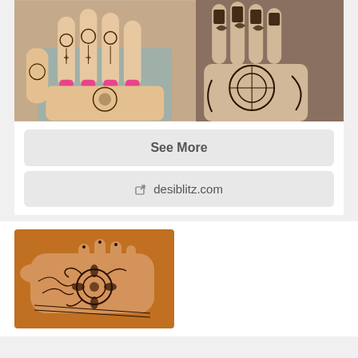[Figure (photo): Two henna/mehndi decorated hands side by side. Left image shows fingers with elaborate mehndi patterns and pink nail polish. Right image shows wrist and fingers with dark geometric mehndi patterns.]
See More
🔗 desiblitz.com
[Figure (photo): A hand with dark intricate mehndi/henna design on orange background, showing back of hand with floral and paisley patterns.]